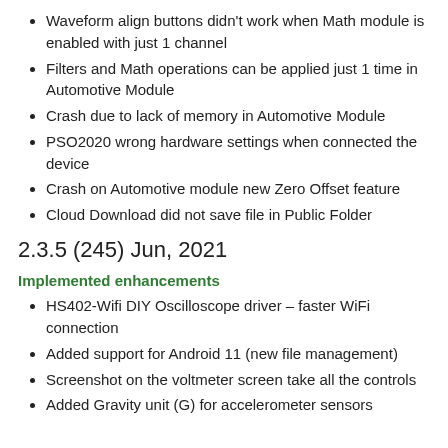Waveform align buttons didn't work when Math module is enabled with just 1 channel
Filters and Math operations can be applied just 1 time in Automotive Module
Crash due to lack of memory in Automotive Module
PSO2020 wrong hardware settings when connected the device
Crash on Automotive module new Zero Offset feature
Cloud Download did not save file in Public Folder
2.3.5 (245) Jun, 2021
Implemented enhancements
HS402-Wifi DIY Oscilloscope driver – faster WiFi connection
Added support for Android 11 (new file management)
Screenshot on the voltmeter screen take all the controls
Added Gravity unit (G) for accelerometer sensors